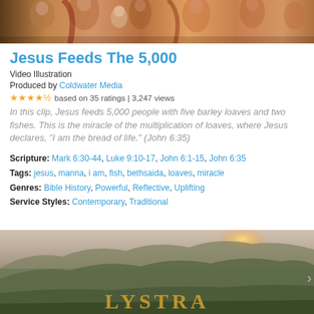[Figure (photo): Top banner image showing a Renaissance-style painting with figures including a baby, in warm golden and brown tones]
Jesus Feeds The 5,000
Video Illustration
Produced by Coldwater Media
★★★★½ based on 35 ratings | 3,247 views
In this clip, Jesus feeds 5,000 people with five barley loaves and two fishes. This is the miracle of the multiplication of loaves, where Jesus declares, "I am the bread of life." (John 6:35)
Scripture: Mark 6:30-44, Luke 9:10-17, John 6:1-15, John 6:35
Tags: jesus, manna, i am, fish, bethsaida, loaves, miracle
Genres: Bible History, Powerful, Reflective, Uplifting
Service Styles: Contemporary, Traditional
[Figure (photo): Landscape photo of rolling hills with sunlight on the horizon, with 'LYSTRA' text overlay in golden letters]